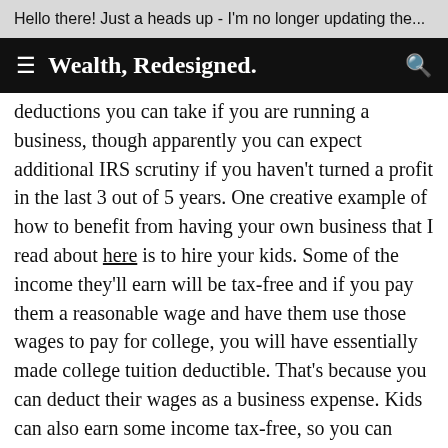Hello there! Just a heads up - I'm no longer updating the...
Wealth, Redesigned.
deductions you can take if you are running a business, though apparently you can expect additional IRS scrutiny if you haven't turned a profit in the last 3 out of 5 years. One creative example of how to benefit from having your own business that I read about here is to hire your kids. Some of the income they'll earn will be tax-free and if you pay them a reasonable wage and have them use those wages to pay for college, you will have essentially made college tuition deductible. That's because you can deduct their wages as a business expense. Kids can also earn some income tax-free, so you can minimize taxes there as well.